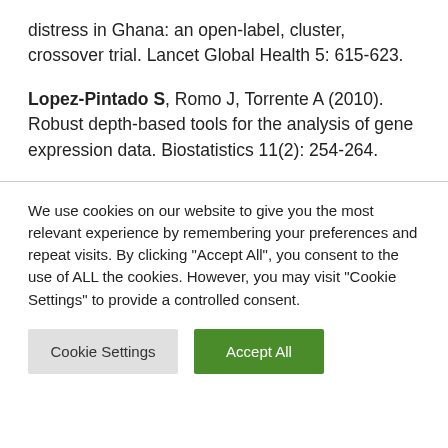distress in Ghana: an open-label, cluster, crossover trial. Lancet Global Health 5: 615-623.
Lopez-Pintado S, Romo J, Torrente A (2010). Robust depth-based tools for the analysis of gene expression data. Biostatistics 11(2): 254-264.
We use cookies on our website to give you the most relevant experience by remembering your preferences and repeat visits. By clicking "Accept All", you consent to the use of ALL the cookies. However, you may visit "Cookie Settings" to provide a controlled consent.